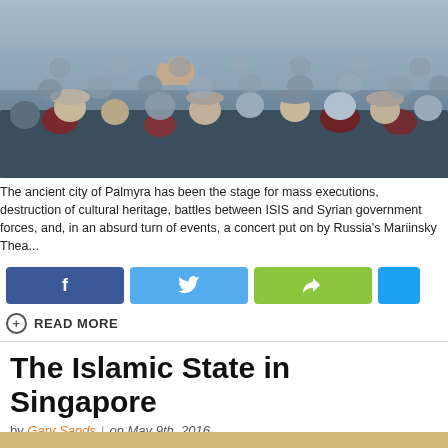[Figure (photo): Crowd of people viewed from behind, seated outdoors, some wearing caps and hats, blurred/candid shot]
The ancient city of Palmyra has been the stage for mass executions, destruction of cultural heritage, battles between ISIS and Syrian government forces, and, in an absurd turn of events, a concert put on by Russia's Mariinsky Thea...
[Figure (infographic): Social sharing buttons: Facebook (dark blue), Twitter (light blue), Share (green), and a partial fourth button]
READ MORE
The Islamic State in Singapore
by Gary Sands | on May 9th, 2016